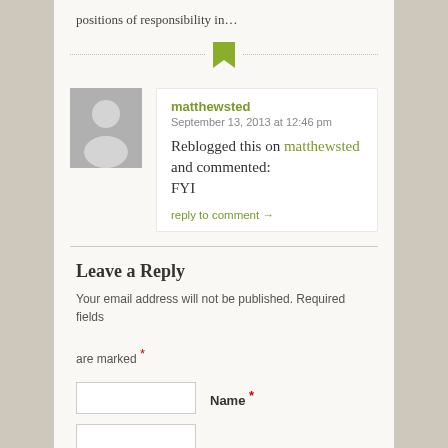positions of responsibility in…
matthewsted
September 13, 2013 at 12:46 pm
Reblogged this on matthewsted and commented:
FYI
reply to comment →
Leave a Reply
Your email address will not be published. Required fields are marked *
Name *